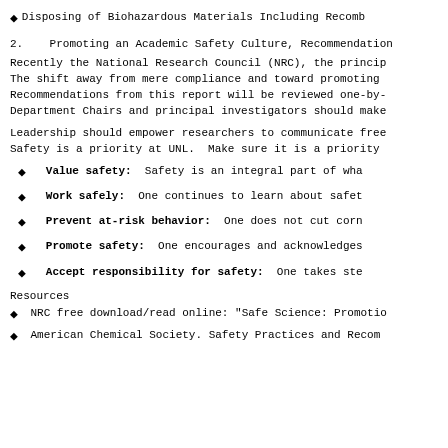◆ Disposing of Biohazardous Materials Including Recombinant…
2.    Promoting an Academic Safety Culture, Recommendation…
Recently the National Research Council (NRC), the princip… The shift away from mere compliance and toward promoting… Recommendations from this report will be reviewed one-by-… Department Chairs and principal investigators should make…
Leadership should empower researchers to communicate free… Safety is a priority at UNL.  Make sure it is a priority…
Value safety:  Safety is an integral part of wha…
Work safely:  One continues to learn about safet…
Prevent at-risk behavior:  One does not cut corn…
Promote safety:  One encourages and acknowledges…
Accept responsibility for safety:  One takes ste…
Resources
◆  NRC free download/read online: "Safe Science: Promotio…
◆  American Chemical Society. Safety Practices and Recom…